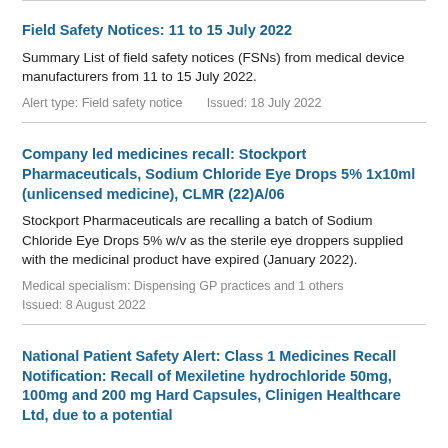Field Safety Notices: 11 to 15 July 2022
Summary List of field safety notices (FSNs) from medical device manufacturers from 11 to 15 July 2022.
Alert type: Field safety notice      Issued: 18 July 2022
Company led medicines recall: Stockport Pharmaceuticals, Sodium Chloride Eye Drops 5% 1x10ml (unlicensed medicine), CLMR (22)A/06
Stockport Pharmaceuticals are recalling a batch of Sodium Chloride Eye Drops 5% w/v as the sterile eye droppers supplied with the medicinal product have expired (January 2022).
Medical specialism: Dispensing GP practices and 1 others
Issued: 8 August 2022
National Patient Safety Alert: Class 1 Medicines Recall Notification: Recall of Mexiletine hydrochloride 50mg, 100mg and 200 mg Hard Capsules, Clinigen Healthcare Ltd, due to a potential